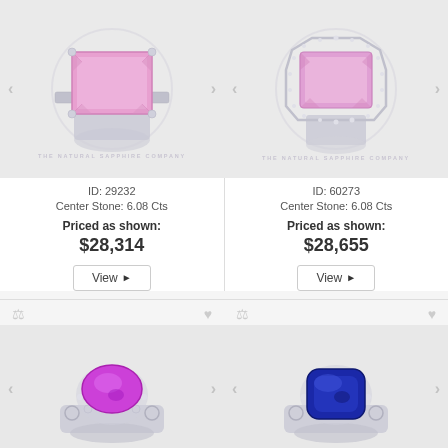[Figure (photo): Pink emerald-cut sapphire ring with baguette side stones on white gold band, shown from above on light gray background. Watermark: THE NATURAL SAPPHIRE COMPANY]
ID: 29232
Center Stone: 6.08 Cts
Priced as shown:
$28,314
View ▶
[Figure (photo): Pink emerald-cut sapphire ring with diamond halo setting on white gold band, shown from above on light gray background. Watermark: THE NATURAL SAPPHIRE COMPANY]
ID: 60273
Center Stone: 6.08 Cts
Priced as shown:
$28,655
View ▶
[Figure (photo): Vibrant purple/magenta oval sapphire ring with diamond-encrusted filigree white gold band, shown from above on light gray background]
[Figure (photo): Deep blue cushion-cut sapphire ring with diamond-encrusted filigree white gold band, shown from above on light gray background]